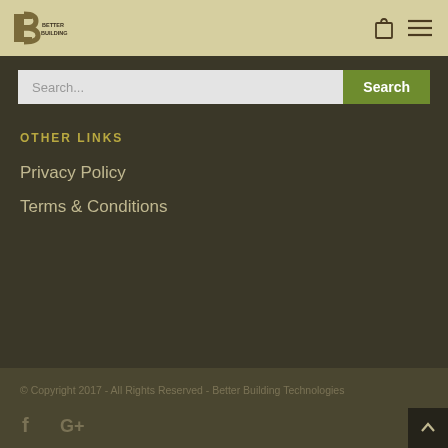[Figure (logo): Better Building Technologies logo with stylized B letters and company name]
Search...
Search
OTHER LINKS
Privacy Policy
Terms & Conditions
© Copyright 2017 - All Rights Reserved - Better Building Technologies
[Figure (illustration): Facebook and Google+ social media icons]